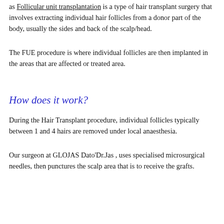as Follicular unit transplantation is a type of hair transplant surgery that involves extracting individual hair follicles from a donor part of the body, usually the sides and back of the scalp/head.
The FUE procedure is where individual follicles are then implanted in the areas that are affected or treated area.
How does it work?
During the Hair Transplant procedure, individual follicles typically between 1 and 4 hairs are removed under local anaesthesia.
Our surgeon at GLOJAS Dato'Dr.Jas , uses specialised microsurgical needles, then punctures the scalp area that is to receive the grafts.